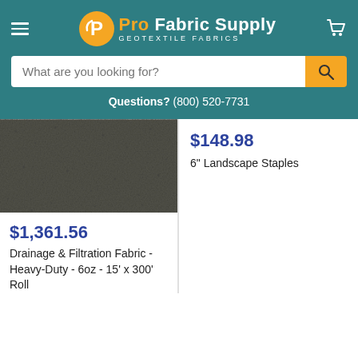Pro Fabric Supply - Geotextile Fabrics
What are you looking for?
Questions? (800) 520-7731
[Figure (photo): Close-up photo of dark gray nonwoven geotextile fabric texture]
$1,361.56
Drainage & Filtration Fabric - Heavy-Duty - 6oz - 15' x 300' Roll
$148.98
6" Landscape Staples